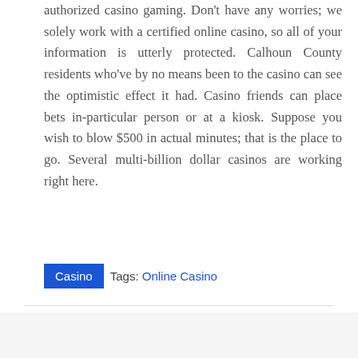authorized casino gaming. Don't have any worries; we solely work with a certified online casino, so all of your information is utterly protected. Calhoun County residents who've by no means been to the casino can see the optimistic effect it had. Casino friends can place bets in-particular person or at a kiosk. Suppose you wish to blow $500 in actual minutes; that is the place to go. Several multi-billion dollar casinos are working right here.
Casino  Tags: Online Casino